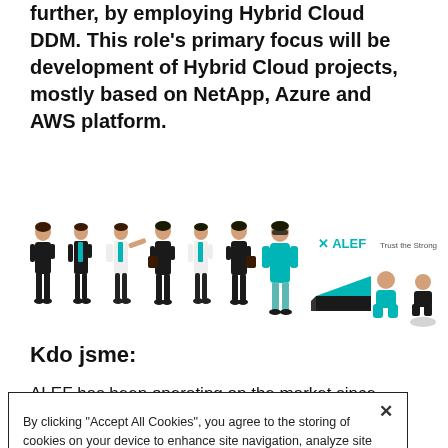further, by employing Hybrid Cloud DDM. This role's primary focus will be development of Hybrid Cloud projects, mostly based on NetApp, Azure and AWS platform.
[Figure (illustration): Row of illustrated people in business attire alongside ALEF logo with tagline 'Trust the Strong' and decorative objects]
Kdo jsme:
ALEF has been operating on the market since 1994 as a reliable partner of major suppliers in the domain of IT
By clicking "Accept All Cookies", you agree to the storing of cookies on your device to enhance site navigation, analyze site usage, and